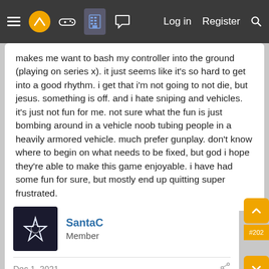Navigation bar with menu, logo, gamepad, grid, chat icons, and Log in, Register, Search links
makes me want to bash my controller into the ground (playing on series x). it just seems like it's so hard to get into a good rhythm. i get that i'm not going to not die, but jesus. something is off. and i hate sniping and vehicles. it's just not fun for me. not sure what the fun is just bombing around in a vehicle noob tubing people in a heavily armored vehicle. much prefer gunplay. don't know where to begin on what needs to be fixed, but god i hope they're able to make this game enjoyable. i have had some fun for sure, but mostly end up quitting super frustrated.
SantaC
Member
Dec 1, 2021
nowifenolife said: